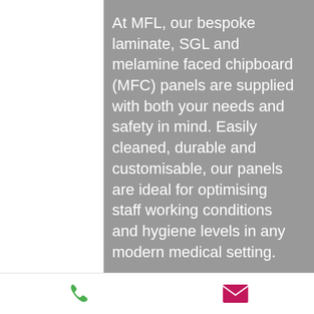At MFL, our bespoke laminate, SGL and melamine faced chipboard (MFC) panels are supplied with both your needs and safety in mind. Easily cleaned, durable and customisable, our panels are ideal for optimising staff working conditions and hygiene levels in any modern medical setting.

We offer a wide range of hygienic and low
[Figure (other): Footer bar with green phone icon on left and pink/magenta email envelope icon on right]